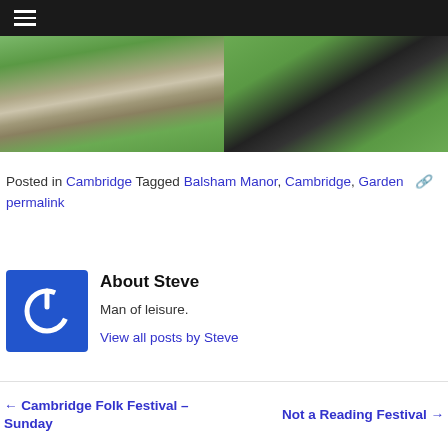☰
[Figure (photo): Two outdoor photos side by side: left shows a flat stone marker or grave slab on grass; right shows a person's shadow on grass holding a paper/document]
Posted in Cambridge Tagged Balsham Manor, Cambridge, Garden 🔗 permalink
[Figure (illustration): Blue square avatar with white power button icon]
About Steve
Man of leisure.
View all posts by Steve
← Cambridge Folk Festival – Sunday    Not a Reading Festival →